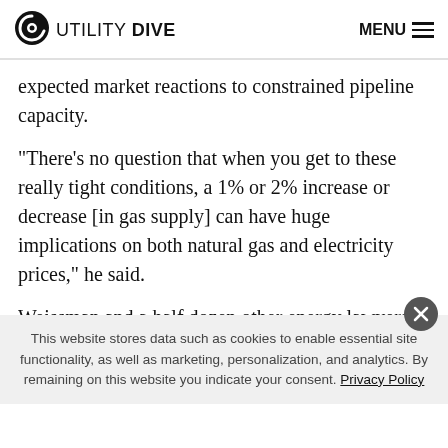UTILITY DIVE  MENU
expected market reactions to constrained pipeline capacity.
“There’s no question that when you get to these really tight conditions, a 1% or 2% increase or decrease [in gas supply] can have huge implications on both natural gas and electricity prices,” he said.
Weissman and a half dozen other energy lawyers, former regulators and analysts endorsed the report’s approach.
This website stores data such as cookies to enable essential site functionality, as well as marketing, personalization, and analytics. By remaining on this website you indicate your consent. Privacy Policy